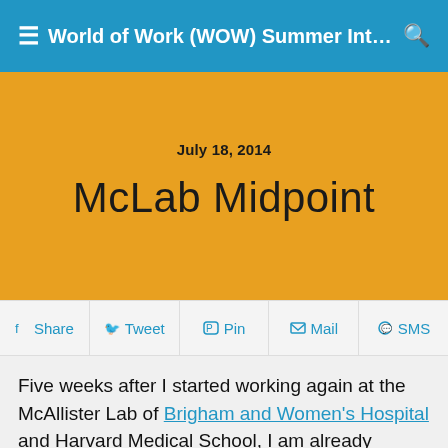World of Work (WOW) Summer Inte...
July 18, 2014
McLab Midpoint
Share  Tweet  Pin  Mail  SMS
Five weeks after I started working again at the McAllister Lab of Brigham and Women's Hospital and Harvard Medical School, I am already halfway done with my internship! Since I started, I have been very busy running all different types of experiments. Some tasks that I have been busy doing are immunohistochemistry, protocol optimization, and